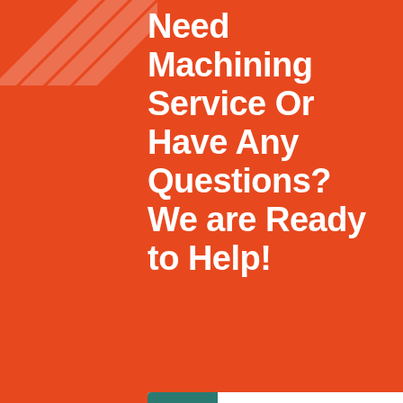[Figure (infographic): Orange background section with diagonal stripe watermark top-left, large white bold text headline, teal arrow button with LEARN MORE label, customer service photo with headset woman, 24/7 badge, three blue icon boxes (headset, phone, Skype), PROVIDE Empowering Customers text, online live bar, dark bottom section.]
Need Machining Service Or Have Any Questions? We are Ready to Help!
LEARN MORE
24/7
PROVIDE Empowering Cu...
online live